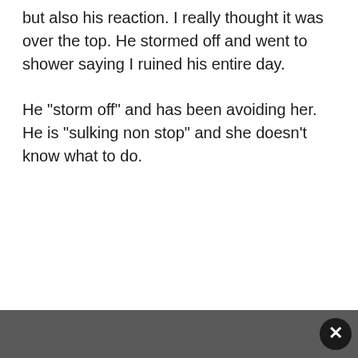but also his reaction. I really thought it was over the top. He stormed off and went to shower saying I ruined his entire day.
He "storm off" and has been avoiding her. He is "sulking non stop" and she doesn't know what to do.